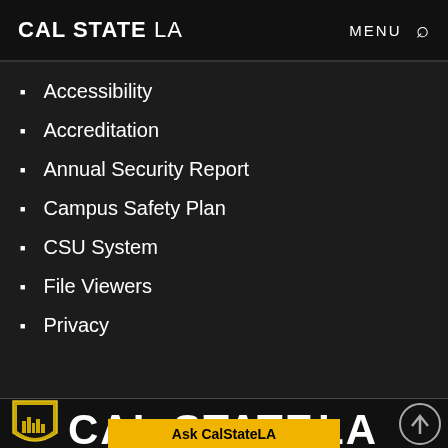CAL STATE LA  MENU 🔍
Accessibility
Accreditation
Annual Security Report
Campus Safety Plan
CSU System
File Viewers
Privacy
[Figure (logo): Cal State LA footer logo with shield icon and large CAL STATE LA text, circle icon on right, and Ask CalStateLA yellow button]